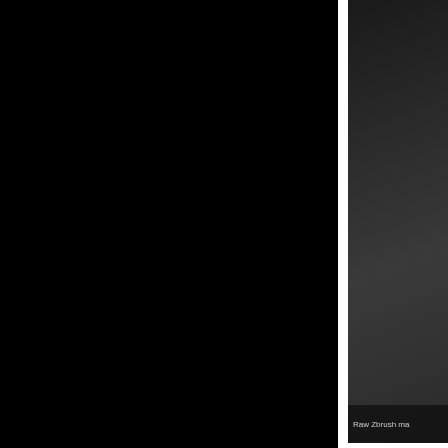[Figure (photo): Large black area on the left side of the page, likely a dark 3D render or ZBrush sculpt screenshot]
[Figure (photo): Dark ZBrush material/map render in the upper right column]
Raw Zbrush ma
Today I sculpte his weapon. I g and I am actua maps onto the
[Figure (photo): Partial dark render image at bottom right]